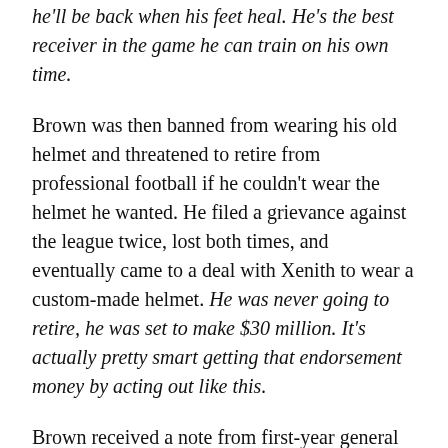he'll be back when his feet heal. He's the best receiver in the game he can train on his own time.
Brown was then banned from wearing his old helmet and threatened to retire from professional football if he couldn't wear the helmet he wanted. He filed a grievance against the league twice, lost both times, and eventually came to a deal with Xenith to wear a custom-made helmet. He was never going to retire, he was set to make $30 million. It's actually pretty smart getting that endorsement money by acting out like this.
Brown received a note from first-year general manager Mike Mayock that the Raiders reserved the right to fine him for missing practices due to his feet and helmet issues. Brown posted a letter of the fine on Instagram with the text "WHEN YOUR